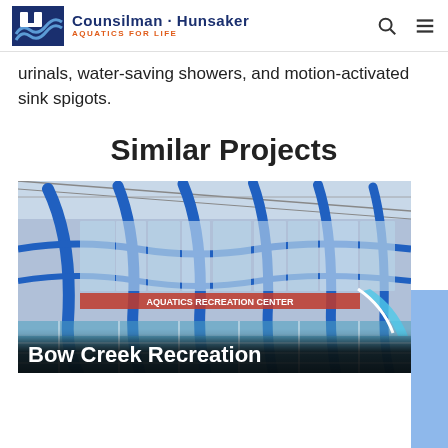Counsilman·Hunsaker AQUATICS FOR LIFE
urinals, water-saving showers, and motion-activated sink spigots.
Similar Projects
[Figure (photo): Interior of Bow Creek Recreation facility showing large aquatics center with blue structural columns and glass walls along with swimming pool area]
Bow Creek Recreation